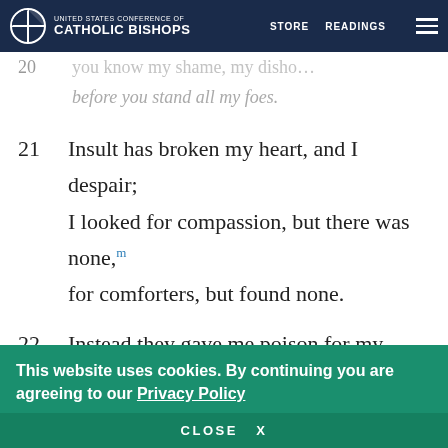UNITED STATES CONFERENCE OF CATHOLIC BISHOPS | STORE | READINGS
20 [partially visible] ... before you stand all my foes.
21 Insult has broken my heart, and I despair; I looked for compassion, but there was none,m for comforters, but found none.
22 Instead they gave me poison for my food; and for my thirst they gave me vinegar.n
This website uses cookies. By continuing you are agreeing to our Privacy Policy
CLOSE X